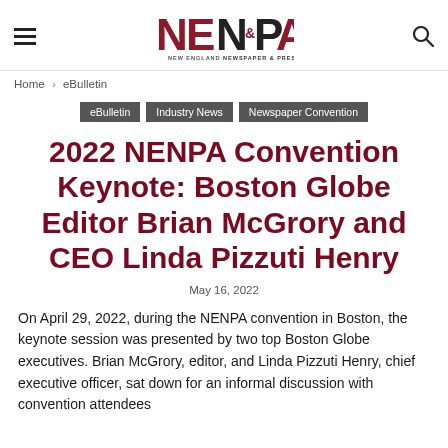NE&PA — New England Newspaper & Press Association
Home › eBulletin
eBulletin | Industry News | Newspaper Convention
2022 NENPA Convention Keynote: Boston Globe Editor Brian McGrory and CEO Linda Pizzuti Henry
May 16, 2022
On April 29, 2022, during the NENPA convention in Boston, the keynote session was presented by two top Boston Globe executives. Brian McGrory, editor, and Linda Pizzuti Henry, chief executive officer, sat down for an informal discussion with convention attendees